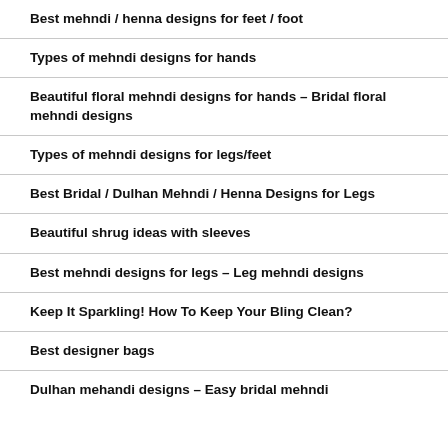Best mehndi / henna designs for feet / foot
Types of mehndi designs for hands
Beautiful floral mehndi designs for hands – Bridal floral mehndi designs
Types of mehndi designs for legs/feet
Best Bridal / Dulhan Mehndi / Henna Designs for Legs
Beautiful shrug ideas with sleeves
Best mehndi designs for legs – Leg mehndi designs
Keep It Sparkling! How To Keep Your Bling Clean?
Best designer bags
Dulhan mehandi designs – Easy bridal mehndi